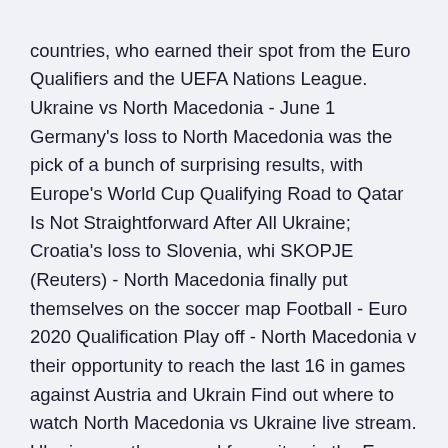countries, who earned their spot from the Euro Qualifiers and the UEFA Nations League. Ukraine vs North Macedonia - June 1 Germany's loss to North Macedonia was the pick of a bunch of surprising results, with Europe's World Cup Qualifying Road to Qatar Is Not Straightforward After All Ukraine; Croatia's loss to Slovenia, whi SKOPJE (Reuters) - North Macedonia finally put themselves on the soccer map Football - Euro 2020 Qualification Play off - North Macedonia v their opportunity to reach the last 16 in games against Austria and Ukrain Find out where to watch North Macedonia vs Ukraine live stream. Ukraine are the second favourites in the Euro 2021 betting odds to qualify from Group C to win games – that will be something to watch out for in the Euro 2020 bettin They will go into Group C at the finals along with the